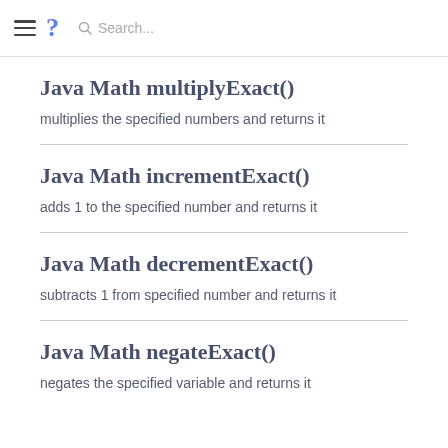Search...
Java Math multiplyExact()
multiplies the specified numbers and returns it
Java Math incrementExact()
adds 1 to the specified number and returns it
Java Math decrementExact()
subtracts 1 from specified number and returns it
Java Math negateExact()
negates the specified variable and returns it